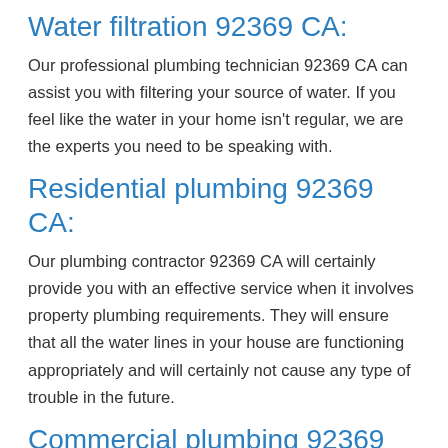Water filtration 92369 CA:
Our professional plumbing technician 92369 CA can assist you with filtering your source of water. If you feel like the water in your home isn't regular, we are the experts you need to be speaking with.
Residential plumbing 92369 CA:
Our plumbing contractor 92369 CA will certainly provide you with an effective service when it involves property plumbing requirements. They will ensure that all the water lines in your house are functioning appropriately and will certainly not cause any type of trouble in the future.
Commercial plumbing 92369 CA:
We likewise use commercial plumbing services for services and